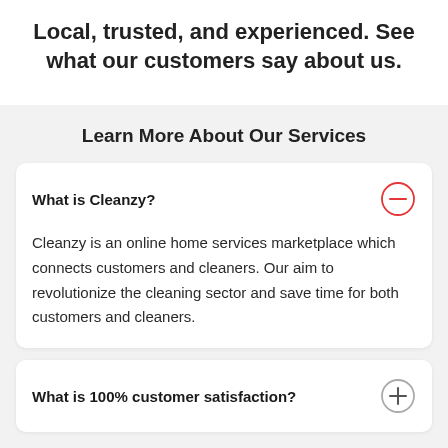Local, trusted, and experienced. See what our customers say about us.
Learn More About Our Services
What is Cleanzy?
Cleanzy is an online home services marketplace which connects customers and cleaners. Our aim to revolutionize the cleaning sector and save time for both customers and cleaners.
What is 100% customer satisfaction?